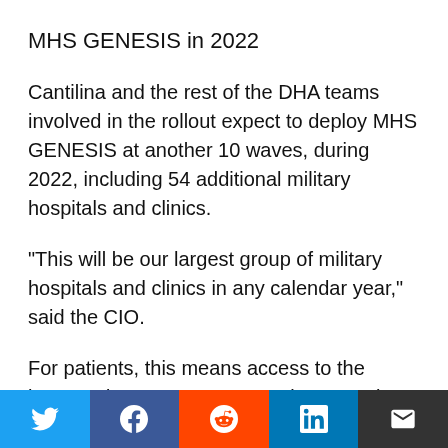MHS GENESIS in 2022
Cantilina and the rest of the DHA teams involved in the rollout expect to deploy MHS GENESIS at another 10 waves, during 2022, including 54 additional military hospitals and clinics.
"This will be our largest group of military hospitals and clinics in any calendar year," said the CIO.
For patients, this means access to the improved MHS GENESIS Patient Portal, which allows online scheduling and secure messaging to providers, as
Social share bar: Twitter, Facebook, Reddit, LinkedIn, Email